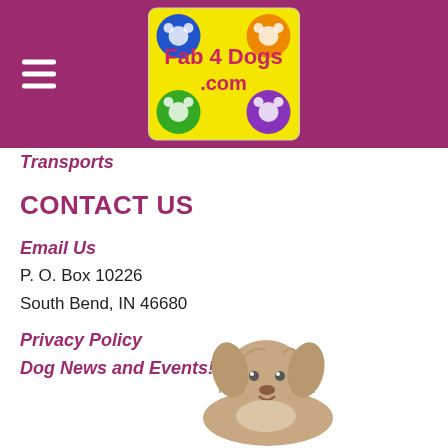Fab 4 Dogs .com
Transports
CONTACT US
Email Us
P. O. Box 10226
South Bend, IN  46680
Privacy Policy
Dog News and Events!
[Figure (photo): A small fluffy dog (puppy) with beige/tan and white fur, looking up with a happy expression]